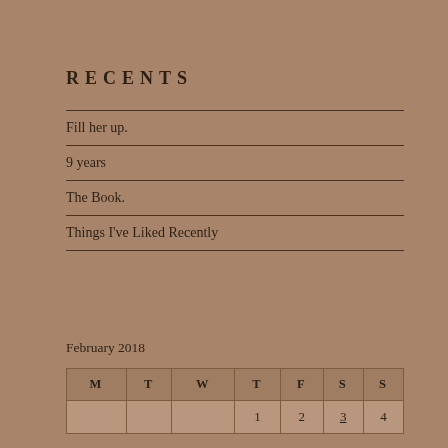RECENTS
Fill her up.
9 years
The Book.
Things I've Liked Recently
February 2018
| M | T | W | T | F | S | S |
| --- | --- | --- | --- | --- | --- | --- |
|  |  |  | 1 | 2 | 3 | 4 |